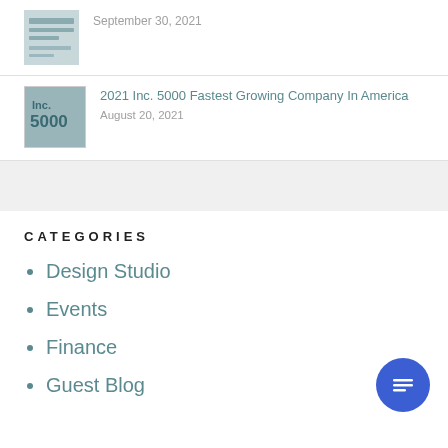[Figure (photo): Thumbnail image for top reasons to buy a new construction home post]
September 30, 2021
[Figure (photo): Thumbnail image showing Inc. 5000 text/logo]
2021 Inc. 5000 Fastest Growing Company In America
August 20, 2021
CATEGORIES
Design Studio
Events
Finance
Guest Blog